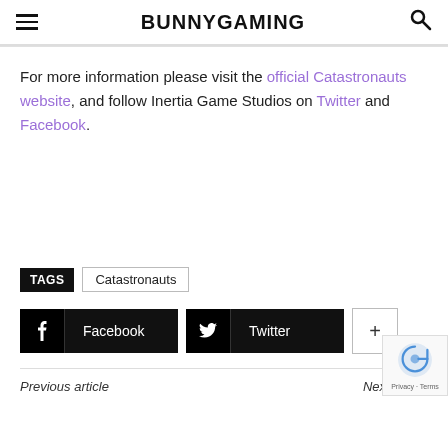BUNNYGAMING
For more information please visit the official Catastronauts website, and follow Inertia Game Studios on Twitter and Facebook.
TAGS  Catastronauts
f Facebook   Twitter   +
Previous article   Next article